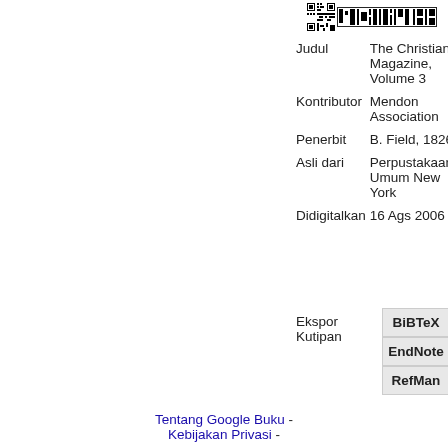[Figure (other): QR code image at top right]
| Field | Value |
| --- | --- |
| Judul | The Christian Magazine, Volume 3 |
| Kontributor | Mendon Association |
| Penerbit | B. Field, 1826 |
| Asli dari | Perpustakaan Umum New York |
| Didigitalkan | 16 Ags 2006 |
Ekspor Kutipan
BiBTeX
EndNote
RefMan
Tentang Google Buku - Kebijakan Privasi -